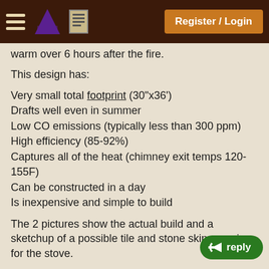Register / Login
warm over 6 hours after the fire.
This design has:
Very small total footprint (30"x36')
Drafts well even in summer
Low CO emissions (typically less than 300 ppm)
High efficiency (85-92%)
Captures all of the heat (chimney exit temps 120-155F)
Can be constructed in a day
Is inexpensive and simple to build
The 2 pictures show the actual build and a sketchup of a possible tile and stone skin covering for the stove.
Notes on the build are here.
http://blog.dragonheaters.com/6-dragon-burner/masonry-heater-using-chimney-flues-part-3/